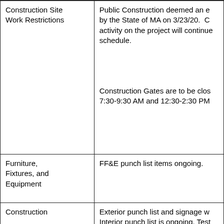| Construction Site Work Restrictions | Public Construction deemed an e by the State of MA on 3/23/20.  C activity on the project will continue schedule.

Construction Gates are to be clos 7:30-9:30 AM and 12:30-2:30 PM |
| Furniture, Fixtures, and Equipment | FF&E punch list items ongoing. |
| Construction | Exterior punch list and signage w Interior punch list is ongoing. Test commissioning are ongoing. |
| Site Work | Exterior security cameras, Roadw |